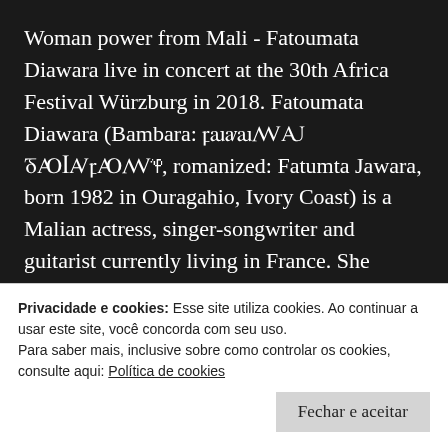Woman power from Mali - Fatoumata Diawara live in concert at the 30th Africa Festival Würzburg in 2018. Fatoumata Diawara (Bambara: ꝼꜷꜹꜷꟿꜶ ꝽꜴꟾꜸꝼꜴꟿꝔ, romanized: Fatumta Jawara, born 1982 in Ouragahio, Ivory Coast) is a Malian actress, singer-songwriter and guitarist currently living in France. She received two nominations at the 61st Annual Grammy Awards for Best... Continue lendo →
Publicado em 2010-2020, Africa, Chordae, Events, Full
Privacidade e cookies: Esse site utiliza cookies. Ao continuar a usar este site, você concorda com seu uso.
Para saber mais, inclusive sobre como controlar os cookies, consulte aqui: Política de cookies